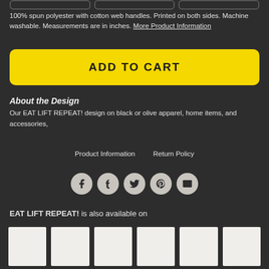100% spun polyester with cotton web handles. Printed on both sides. Machine washable. Measurements are in inches. More Product Information
ADD TO CART
About the Design
Our EAT LIFT REPEAT! design on black or olive apparel, home items, and accessories,
Product Information    Return Policy
[Figure (infographic): Row of 5 social share icons: Facebook, Tumblr, Twitter, Pinterest, Email — each in a circular grey button]
EAT LIFT REPEAT! is also available on
[Figure (photo): Row of 6 white product thumbnail images showing available product variants]